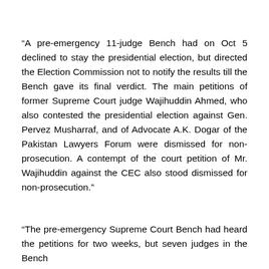“A pre-emergency 11-judge Bench had on Oct 5 declined to stay the presidential election, but directed the Election Commission not to notify the results till the Bench gave its final verdict. The main petitions of former Supreme Court judge Wajihuddin Ahmed, who also contested the presidential election against Gen. Pervez Musharraf, and of Advocate A.K. Dogar of the Pakistan Lawyers Forum were dismissed for non-prosecution. A contempt of the court petition of Mr. Wajihuddin against the CEC also stood dismissed for non-prosecution.”
“The pre-emergency Supreme Court Bench had heard the petitions for two weeks, but seven judges in the Bench